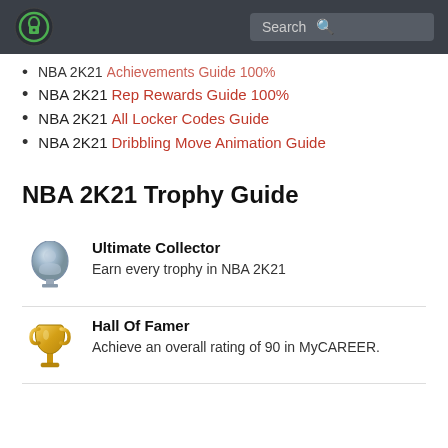[Logo] Search
NBA 2K21 [truncated link]
NBA 2K21 Rep Rewards Guide 100%
NBA 2K21 All Locker Codes Guide
NBA 2K21 Dribbling Move Animation Guide
NBA 2K21 Trophy Guide
[Figure (illustration): Platinum trophy icon (silver/blue shield with person silhouette)]
Ultimate Collector
Earn every trophy in NBA 2K21
[Figure (illustration): Gold trophy cup icon]
Hall Of Famer
Achieve an overall rating of 90 in MyCAREER.